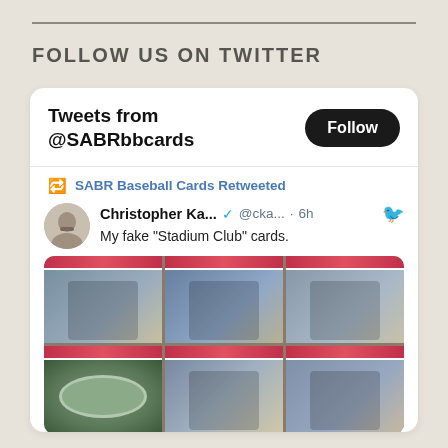FOLLOW US ON TWITTER
Tweets from @SABRbbcards
Follow
SABR Baseball Cards Retweeted
Christopher Ka... @cka... · 6h
My fake "Stadium Club" cards.
[Figure (photo): Grid of 6 fake 'Stadium Club' baseball cards arranged in 2 rows of 3, showing vintage-style player and stadium photos with red header stripes]
6  25